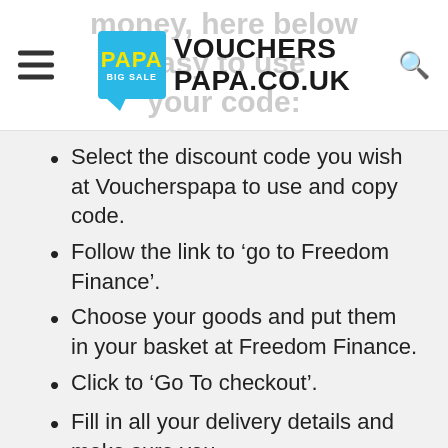[Figure (logo): VouchersPapa.co.uk logo with PAPA BIG SALE badge in blue, hamburger menu icon on left, search icon on right]
Select the discount code you wish at Voucherspapa to use and copy code.
Follow the link to 'go to Freedom Finance'.
Choose your goods and put them in your basket at Freedom Finance.
Click to 'Go To checkout'.
Fill in all your delivery details and make sure you